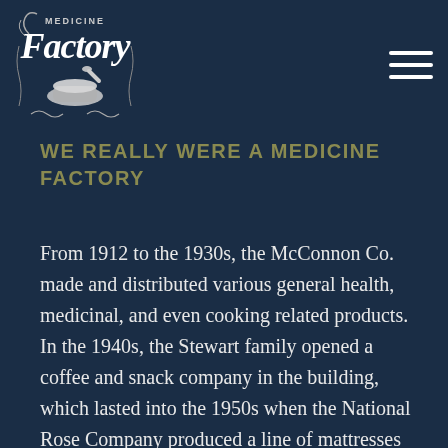[Figure (logo): Medicine Factory logo — decorative vintage script text with mortar and pestle illustration, white on dark navy background]
WE REALLY WERE A MEDICINE FACTORY
From 1912 to the 1930s, the McConnon Co. made and distributed various general health, medicinal, and even cooking related products. In the 1940s, the Stewart family opened a coffee and snack company in the building, which lasted into the 1950s when the National Rose Company produced a line of mattresses there. In 2005, Phillip Lewis